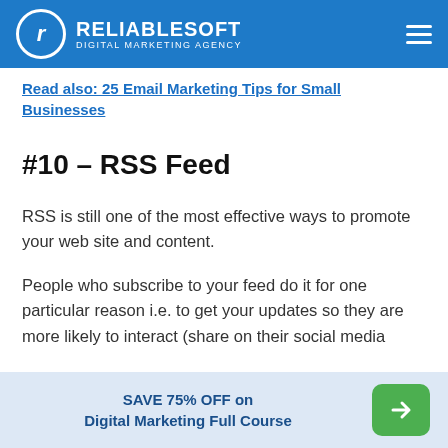RELIABLESOFT DIGITAL MARKETING AGENCY
Read also: 25 Email Marketing Tips for Small Businesses
#10 – RSS Feed
RSS is still one of the most effective ways to promote your web site and content.
People who subscribe to your feed do it for one particular reason i.e. to get your updates so they are more likely to interact (share on their social media
SAVE 75% OFF on Digital Marketing Full Course